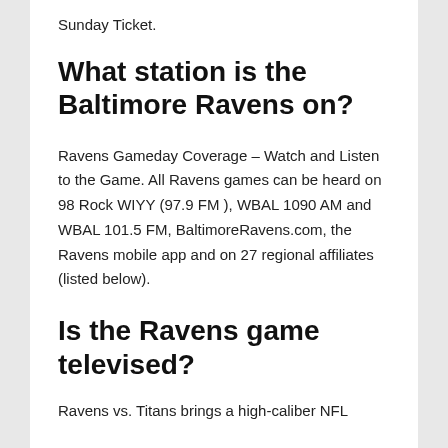Sunday Ticket.
What station is the Baltimore Ravens on?
Ravens Gameday Coverage – Watch and Listen to the Game. All Ravens games can be heard on 98 Rock WIYY (97.9 FM ), WBAL 1090 AM and WBAL 101.5 FM, BaltimoreRavens.com, the Ravens mobile app and on 27 regional affiliates (listed below).
Is the Ravens game televised?
Ravens vs. Titans brings a high-caliber NFL